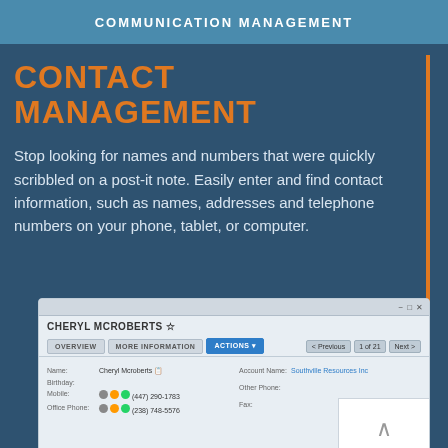COMMUNICATION MANAGEMENT
CONTACT MANAGEMENT
Stop looking for names and numbers that were quickly scribbled on a post-it note. Easily enter and find contact information, such as names, addresses and telephone numbers on your phone, tablet, or computer.
[Figure (screenshot): Screenshot of a contact management software interface showing a contact record for Cheryl McRoberts with fields for Name, Birthday, Mobile, Office Phone, Account Name, Other Phone, and Fax. The interface has Overview, More Information, and Actions tabs, along with Previous/Next navigation buttons.]